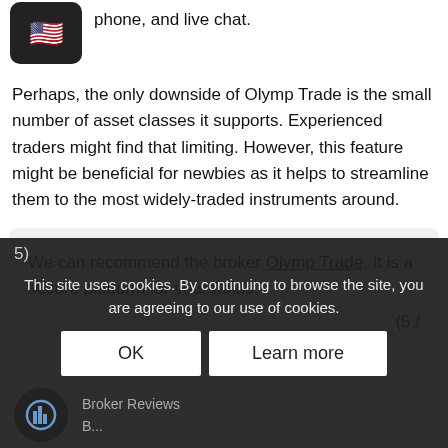Customer support service is offered via phone, and live chat.
Perhaps, the only downside of Olymp Trade is the small number of asset classes it supports. Experienced traders might find that limiting. However, this feature might be beneficial for newbies as it helps to streamline them to the most widely-traded instruments around.
We can recommend the broker Olymp Trade. It is a secure platform for your funds. (5 / 5)
This site uses cookies. By continuing to browse the site, you are agreeing to our use of cookies.
OK
Learn more